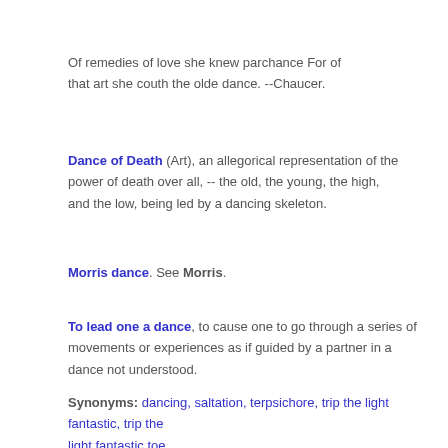Of remedies of love she knew parchance For of that art she couth the olde dance. --Chaucer.
Dance of Death (Art), an allegorical representation of the power of death over all, -- the old, the young, the high, and the low, being led by a dancing skeleton.
Morris dance. See Morris.
To lead one a dance, to cause one to go through a series of movements or experiences as if guided by a partner in a dance not understood.
Synonyms: dancing, saltation, terpsichore, trip the light fantastic, trip the light fantastic toe